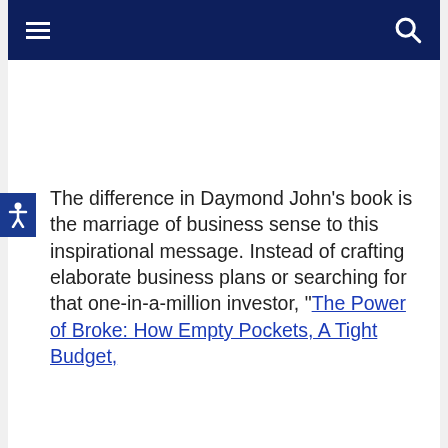[Navigation bar with hamburger menu and search icon]
The difference in Daymond John’s book is the marriage of business sense to this inspirational message. Instead of crafting elaborate business plans or searching for that one-in-a-million investor, “The Power of Broke: How Empty Pockets, A Tight Budget,